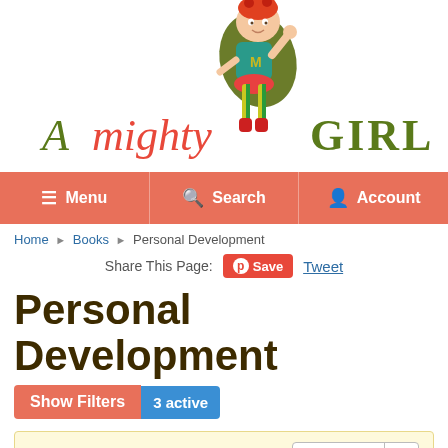[Figure (logo): A Mighty Girl website logo with illustrated girl character wearing a green cape and teal outfit with red tutu, and the text 'A mighty GIRL' in olive and red/coral colors]
Menu | Search | Account
Home > Books > Personal Development
Share This Page: Save Tweet
Personal Development
Show Filters  3 active
1-36 of 62 items   Sort  Best Value